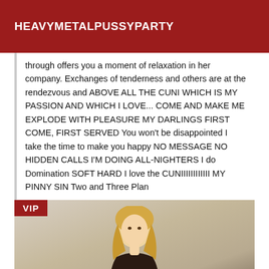HEAVYMETALPUSSYPARTY
through offers you a moment of relaxation in her company. Exchanges of tenderness and others are at the rendezvous and ABOVE ALL THE CUNI WHICH IS MY PASSION AND WHICH I LOVE... COME AND MAKE ME EXPLODE WITH PLEASURE MY DARLINGS FIRST COME, FIRST SERVED You won't be disappointed I take the time to make you happy NO MESSAGE NO HIDDEN CALLS I'M DOING ALL-NIGHTERS I do Domination SOFT HARD I love the CUNIIIIIIIIIIII MY PINNY SIN Two and Three Plan
[Figure (photo): Photo of a blonde woman, partially visible from the torso up, with a VIP badge in the top-left corner of the image.]